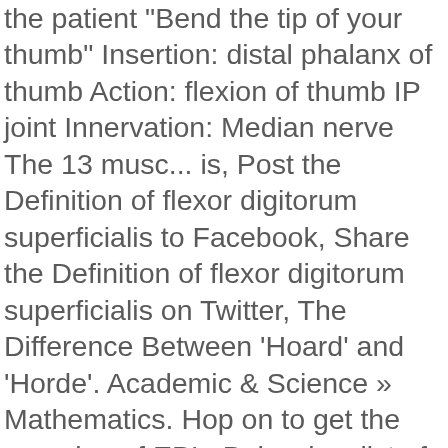the patient "Bend the tip of your thumb" Insertion: distal phalanx of thumb Action: flexion of thumb IP joint Innervation: Median nerve The 13 musc... is, Post the Definition of flexor digitorum superficialis to Facebook, Share the Definition of flexor digitorum superficialis on Twitter, The Difference Between 'Hoard' and 'Horde'. Academic & Science » Mathematics. Hop on to get the meaning of EPL. Below is a list of commonly used abbreviations that are relevant to physiotherapy practice. Without finger flexion, patients will have difficulties with many tasks of daily living. Looking for the definition of FDP? FDP is shown in blue. Flexor digitorum profundus and flexor digitorum superficialis anatomy in the digit illustrating the split in the superficialis tendon that allows the profundus tendon to continue distally to its insertion on the distal phalanx. Zone is unique in that FDP and FDS in same tendon sheath (both can be